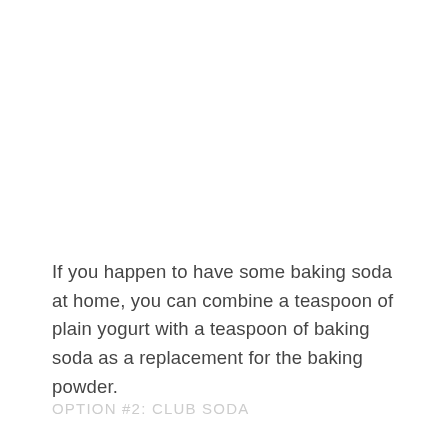If you happen to have some baking soda at home, you can combine a teaspoon of plain yogurt with a teaspoon of baking soda as a replacement for the baking powder.
OPTION #2: CLUB SODA